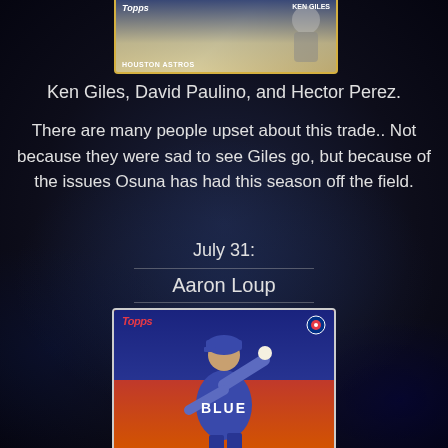[Figure (photo): Topps baseball card showing Houston Astros player at top of page, partially visible]
Ken Giles, David Paulino, and Hector Perez.
There are many people upset about this trade.. Not because they were sad to see Giles go, but because of the issues Osuna has had this season off the field.
July 31:
Aaron Loup
[Figure (photo): Topps baseball card showing Aaron Loup pitching in Toronto Blue Jays uniform with BLUE visible on jersey]